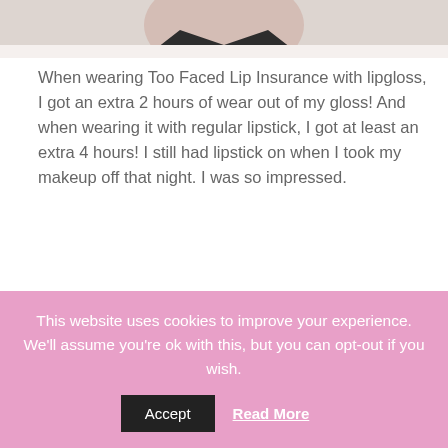[Figure (photo): Top portion of a photo showing a woman's neck and lower face area against a light background]
When wearing Too Faced Lip Insurance with lipgloss, I got an extra 2 hours of wear out of my gloss! And when wearing it with regular lipstick, I got at least an extra 4 hours! I still had lipstick on when I took my makeup off that night. I was so impressed.
[Figure (photo): Top portion of a woman's head showing dark brown hair against a light background]
This website uses cookies to improve your experience. We'll assume you're ok with this, but you can opt-out if you wish.
Accept   Read More